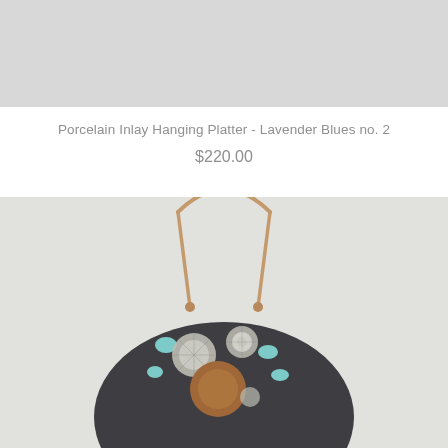[Figure (photo): Top portion of a product photo showing a light gray background — appears to be the upper part of a porcelain hanging platter product image cropped at top.]
Porcelain Inlay Hanging Platter - Lavender Blues no. 2
$220.00
[Figure (photo): Product photo of a dark gray/charcoal porcelain hanging platter with inlaid decorative dots in teal/aqua, white, and copper/brown on a light gray background. The platter is hung with a natural leather cord tied in knots through holes in the piece.]